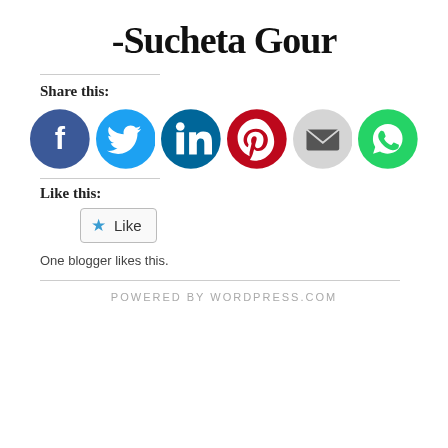-Sucheta Gour
Share this:
[Figure (illustration): Row of 6 circular social media icons: Facebook (blue), Twitter (cyan), LinkedIn (dark teal), Pinterest (red), Email (gray), WhatsApp (green)]
Like this:
[Figure (screenshot): Like button widget with a blue star icon and the word 'Like'. Below it says 'One blogger likes this.']
One blogger likes this.
POWERED BY WORDPRESS.COM